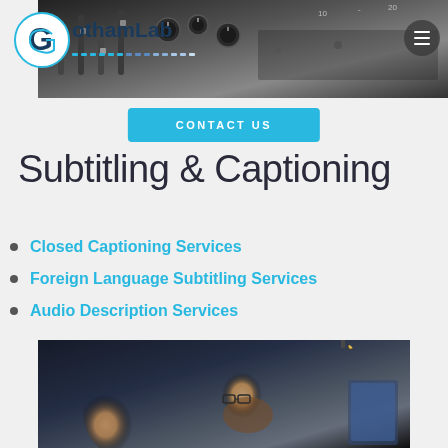[Figure (photo): Close-up photo of an audio mixing board with sliders and knobs, dark background]
[Figure (logo): GothamLab logo with circular G icon and blue dotted line beneath the text]
CONTACT US
Subtitling & Captioning
Closed Captioning Services
Foreign Language Subtitling Services
Audio Description Services
[Figure (photo): Two people (a woman and a bearded man with glasses) looking at a computer screen in a dark studio setting with a hanging lamp]